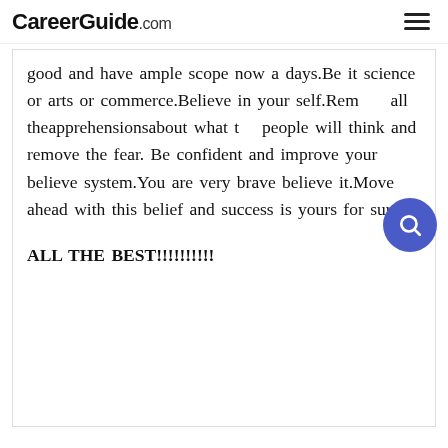CareerGuide.com
good and have ample scope now a days.Be it science or arts or commerce.Believe in your self.Remove all theapprehensionsabout what the people will think and remove the fear. Be confident and improve your believe system.You are very brave believe it.Move ahead with this belief and success is yours for sure.
ALL THE BEST!!!!!!!!!!